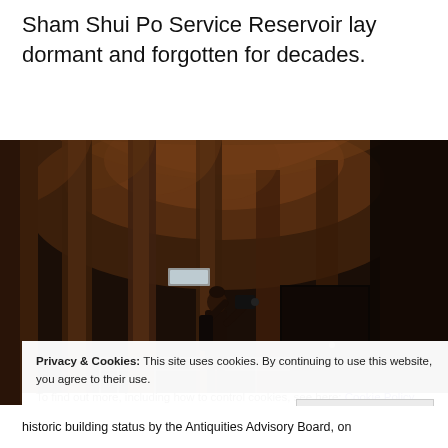Sham Shui Po Service Reservoir lay dormant and forgotten for decades.
[Figure (photo): Dark interior of Sham Shui Po Service Reservoir showing stone arched columns and vaulted ceiling, with a person standing and photographing upward with a camera, dimly lit in warm amber tones]
Privacy & Cookies: This site uses cookies. By continuing to use this website, you agree to their use.
To find out more, including how to control cookies, see here: Cookie Policy
Close and accept
historic building status by the Antiquities Advisory Board, on